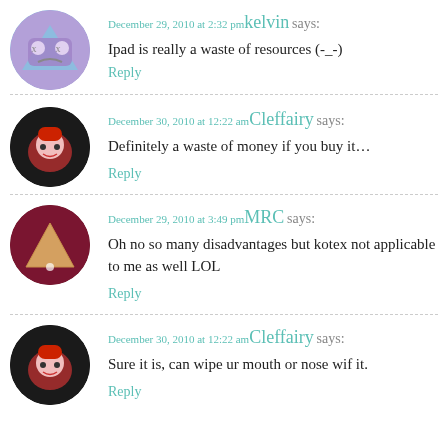December 29, 2010 at 2:32 pm kelvin says: Ipad is really a waste of resources (-_-)
Reply
December 30, 2010 at 12:22 am Cleffairy says: Definitely a waste of money if you buy it…
Reply
December 29, 2010 at 3:49 pm MRC says: Oh no so many disadvantages but kotex not applicable to me as well LOL
Reply
December 30, 2010 at 12:22 am Cleffairy says: Sure it is, can wipe ur mouth or nose wif it.
Reply